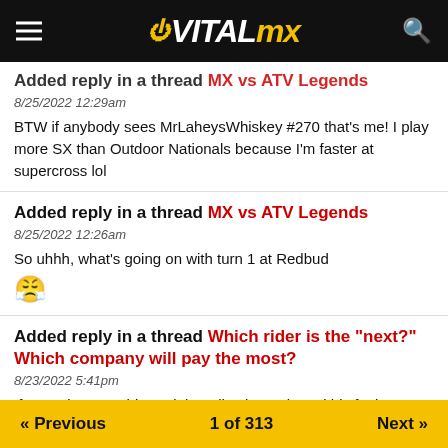VITALMX
Added reply in a thread MX vs ATV Legends
8/25/2022 12:29am
BTW if anybody sees MrLaheysWhiskey #270 that's me! I play more SX than Outdoor Nationals because I'm faster at supercross lol
Added reply in a thread MX vs ATV Legends
8/25/2022 12:26am
So uhhh, what's going on with turn 1 at Redbud
Added reply in a thread Which rider is the "next?" Which company will pay the most?
8/23/2022 5:41pm
If you take away his social media channels and his fanboys, Haiden is just another fast amateur, no different from so many others. The rest is fluff
« Previous   1 of 313   Next »